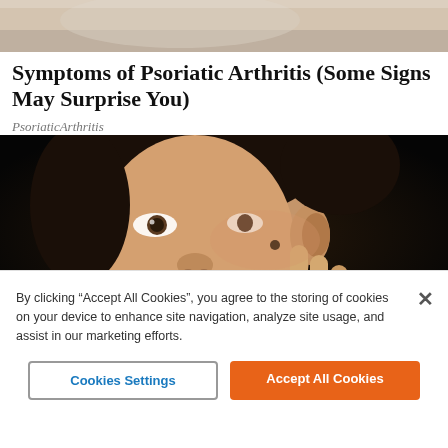[Figure (photo): Partial view of a person in white clothing, cropped at the top of the page]
Symptoms of Psoriatic Arthritis (Some Signs May Surprise You)
PsoriaticArthritis
[Figure (photo): Close-up photo of a man with dark hair and stubble, touching a spot near his eye, on a dark background]
By clicking “Accept All Cookies”, you agree to the storing of cookies on your device to enhance site navigation, analyze site usage, and assist in our marketing efforts.
Cookies Settings
Accept All Cookies